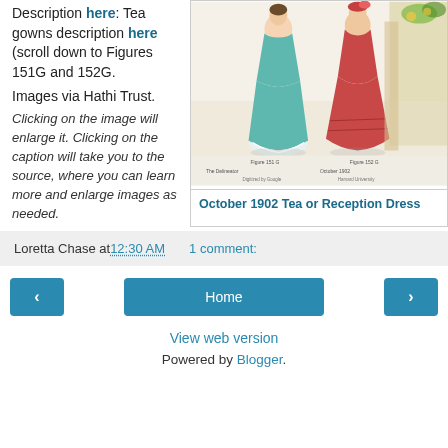Description here: Tea gowns description here (scroll down to Figures 151G and 152G.
[Figure (illustration): Vintage fashion illustration showing women in October 1902 Tea or Reception Dress styles, two figures in long elegant gowns (teal/green and red/pink), with text 'The Delineator October 1902' and Google/Harvard University digitization credits.]
October 1902 Tea or Reception Dress
Images via Hathi Trust.
Clicking on the image will enlarge it. Clicking on the caption will take you to the source, where you can learn more and enlarge images as needed.
Loretta Chase at 12:30 AM    1 comment:
Home
View web version
Powered by Blogger.